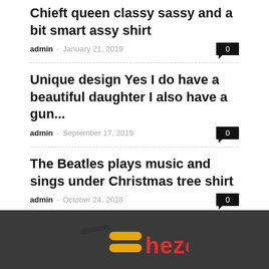Chieft queen classy sassy and a bit smart assy shirt
admin – January 21, 2019   0
Unique design Yes I do have a beautiful daughter I also have a gun...
admin – September 17, 2019   0
The Beatles plays music and sings under Christmas tree shirt
admin – October 24, 2018   0
Load more
[Figure (logo): Shezor or similar brand logo with stylized S icon in orange/yellow on dark grey footer background, with red text]